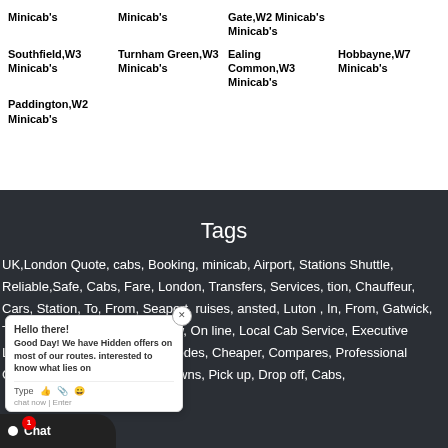Minicab's
Minicab's
Gate,W2 Minicab's Minicab's
Southfield,W3 Minicab's
Turnham Green,W3 Minicab's
Ealing Common,W3 Minicab's
Hobbayne,W7 Minicab's
Paddington,W2 Minicab's
Tags
UK,London Quote, cabs, Booking, minicab, Airport, Stations Shuttle, Reliable,Safe, Cabs, Fare, London, Transfers, Services, information, Chauffeur, Cars, Station, To, From, Seaport, Cruises, Stansted, Luton , In, From, Gatwick, To, Cheap, Hire, Firm, Price, Cost, Low, On line, Local Cab Service, Executive Luxury, Numbers, Area, PostCodes, Cheaper, Compares, Professional Companies, Local MiniCab, Towns, Pick up, Drop off, Cabs,